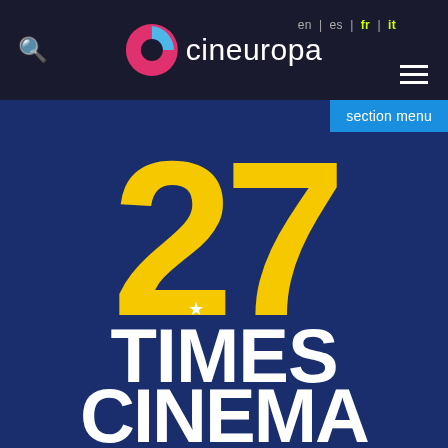cineuropa — en | es | fr | it
[Figure (logo): 27 Times Cinema logo on dark blue background with large yellow '27' numerals, a white star, and white bold text reading 'TIMES CINEMA']